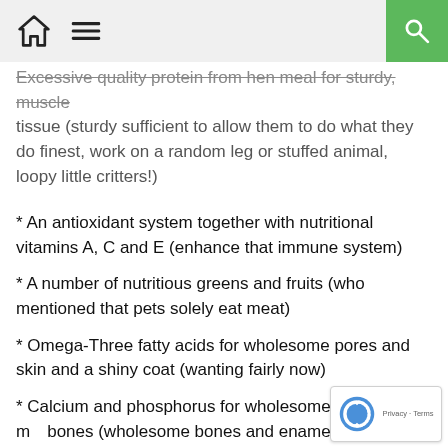Home | Menu | Search
Excessive quality protein from hen meal for sturdy, muscle tissue (sturdy sufficient to allow them to do what they do finest, work on a random leg or stuffed animal, loopy little critters!)
* An antioxidant system together with nutritional vitamins A, C and E (enhance that immune system)
* A number of nutritious greens and fruits (who mentioned that pets solely eat meat)
* Omega-Three fatty acids for wholesome pores and skin and a shiny coat (wanting fairly now)
* Calcium and phosphorus for wholesome enamel and bones (wholesome bones and enamel equals completely happy